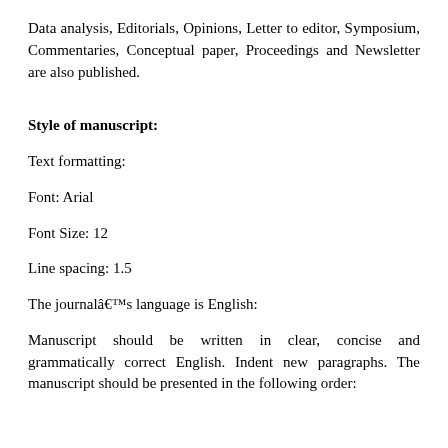Data analysis, Editorials, Opinions, Letter to editor, Symposium, Commentaries, Conceptual paper, Proceedings and Newsletter are also published.
Style of manuscript:
Text formatting:
Font: Arial
Font Size: 12
Line spacing: 1.5
The journalâ€šÃ„Ã´s language is English:
Manuscript should be written in clear, concise and grammatically correct English. Indent new paragraphs. The manuscript should be presented in the following order: